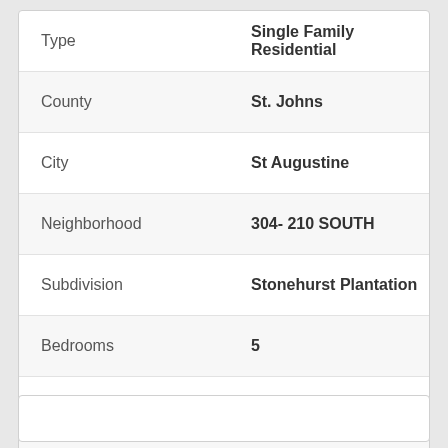| Field | Value |
| --- | --- |
| Type | Single Family Residential |
| County | St. Johns |
| City | St Augustine |
| Neighborhood | 304- 210 SOUTH |
| Subdivision | Stonehurst Plantation |
| Bedrooms | 5 |
| Bathrooms | 4 |
| Living Area | 2,904 |
| Lot Range | .25 to .5 Acre |